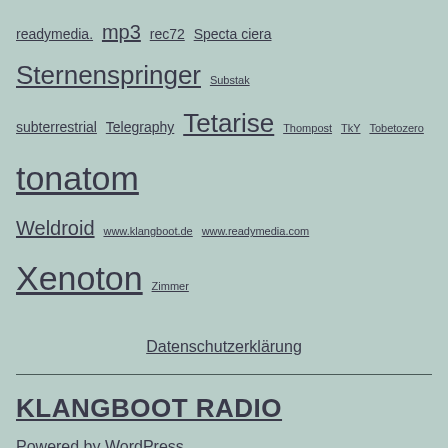readymedia. mp3 rec72 Specta ciera Sternenspringer Substak subterrestrial Telegraphy Tetarise Thompost TkY Tobetozero tonatom Weldroid www.klangboot.de www.readymedia.com Xenoton Zimmer
Datenschutzerklärung
KLANGBOOT RADIO
Powered by WordPress.